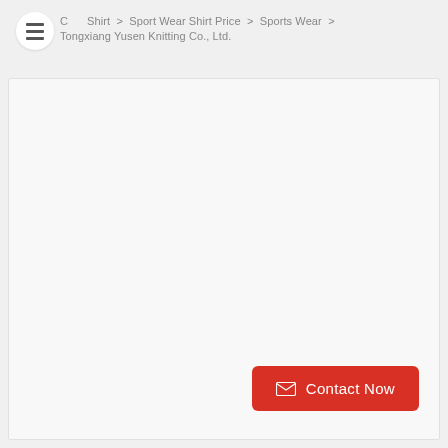C  Shirt > Sport Wear Shirt Price > Sports Wear > Tongxiang Yusen Knitting Co., Ltd.
[Figure (screenshot): Product image area - large white/light gray blank product card with a red Contact Now button in the bottom right corner featuring an envelope icon]